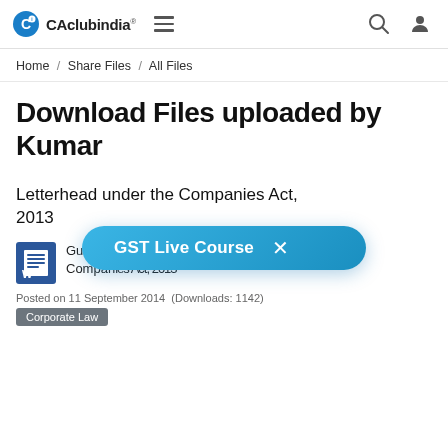CAclubindia® ≡ [search icon] [user icon]
Home / Share Files / All Files
Download Files uploaded by Kumar
Letterhead under the Companies Act, 2013
Guidlines ffor letter head under the Companies Act, 2013
Posted on 11 September 2014 (Downloads: 1142)
Corporate Law
GST Live Course ×